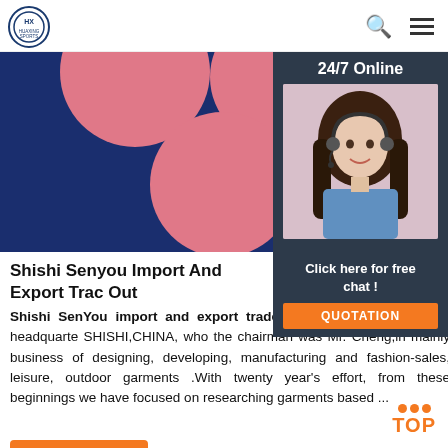HUAXING SPORTS
[Figure (photo): Dark blue background with pink flower petals at the top; overlaid with a 24/7 Online customer service chat panel showing a woman with headset on the right side]
Shishi Senyou Import And Export Trade Out
Shishi SenYou import and export trade was founded in 1994,that headquartered in SHISHI,CHINA, who the chairman was Mr. Cheng,in mainly business of designing, developing, manufacturing and fashion-sales, leisure, outdoor garments .With twenty year's effort, from these beginnings we have focused on researching garments based ...
Click here for free chat !
QUOTATION
Get Price